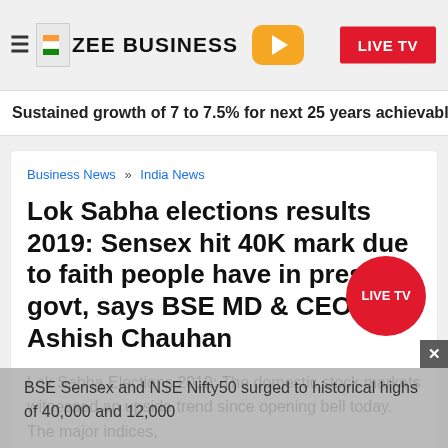ZEE BUSINESS — LIVE TV
Sustained growth of 7 to 7.5% for next 25 years achievable, says B
Business News » India News
Lok Sabha elections results 2019: Sensex hit 40K mark due to faith people have in present govt, says BSE MD & CEO, Ashish Chauhan
Lok Sabha Elections 2019: The domestic stock markets witnessed an upside trend since opening bell today. The major indices, BSE Sensex and NSE Nifty50 surged to historical highs of 40,000 and 12,000